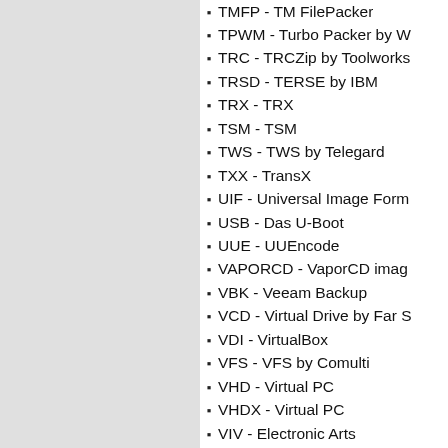TMFP - TM FilePacker
TPWM - Turbo Packer by W
TRC - TRCZip by Toolworks
TRSD - TERSE by IBM
TRX - TRX
TSM - TSM
TWS - TWS by Telegard
TXX - TransX
UIF - Universal Image Form
USB - Das U-Boot
UUE - UUEncode
VAPORCD - VaporCD imag
VBK - Veeam Backup
VCD - Virtual Drive by Far S
VDI - VirtualBox
VFS - VFS by Comulti
VHD - Virtual PC
VHDX - Virtual PC
VIV - Electronic Arts
VMA - VMARC by John Fis
VMDK - VMware
VRCL - VRCL
VSG - ArcHaf by VVS Soft
WA - WARC by WolfgrapH
WARC - Web Archive